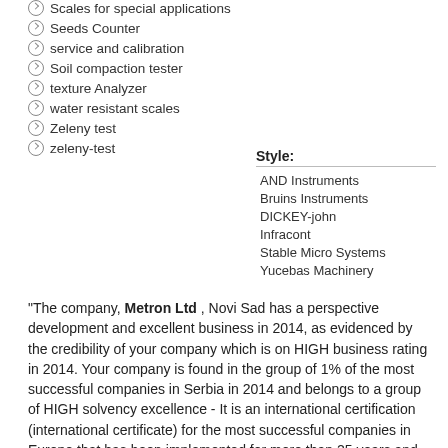Scales for special applications
Seeds Counter
service and calibration
Soil compaction tester
texture Analyzer
water resistant scales
Zeleny test
zeleny-test
Style:
AND Instruments
Bruins Instruments
DICKEY-john
Infracont
Stable Micro Systems
Yucebas Machinery
"The company, Metron Ltd , Novi Sad has a perspective development and excellent business in 2014, as evidenced by the credibility of your company which is on HIGH business rating in 2014. Your company is found in the group of 1% of the most successful companies in Serbia in 2014 and belongs to a group of HIGH solvency excellence - It is an international certification (international certificate) for the most successful companies in Europe that has been implemented for more than 25 years and is present in 20 countries."